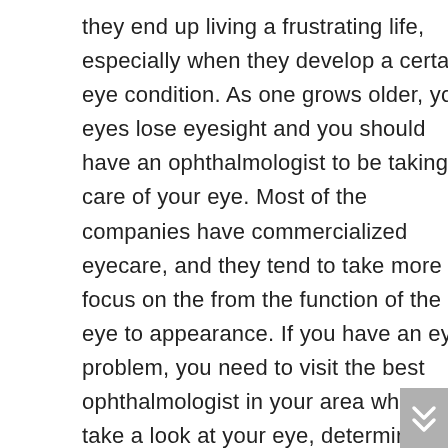they end up living a frustrating life, especially when they develop a certain eye condition. As one grows older, your eyes lose eyesight and you should have an ophthalmologist to be taking care of your eye. Most of the companies have commercialized eyecare, and they tend to take more focus on the from the function of the eye to appearance. If you have an eye problem, you need to visit the best ophthalmologist in your area who would take a look at your eye, determine the cause of the problem you are having and then come with the best treatment for the eye problem. An ophthalmologist is a medical personnel whop is highly specialized in the medical and surgical care of eyes and visual system to prevent any kind of injury and damage. Eye doctors are trained to provide total vision care but, in most cases, they spend their time, including examinations